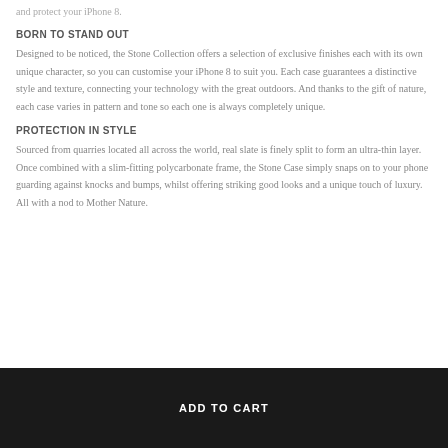and protect your iPhone 8.
BORN TO STAND OUT
Designed to be noticed, the Stone Collection offers a selection of exclusive finishes each with its own unique character, so you can customise your iPhone 8 to suit you. Each case guarantees a distinctive style and texture, connecting your technology with the great outdoors. And thanks to the gift of nature, each case varies in pattern and tone so each one is always completely unique.
PROTECTION IN STYLE
Sourced from quarries located all across the world, real slate is finely split to form an ultra-thin layer. Once combined with a slim-fitting polycarbonate frame, the Stone Case simply snaps on to your phone guarding against knocks and bumps, whilst offering striking good looks and a unique touch of luxury. All with a nod to Mother Nature.
ADD TO CART